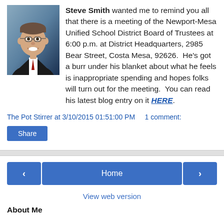[Figure (photo): Headshot photo of a man in a suit with glasses, smiling, against a blue background]
Steve Smith wanted me to remind you all that there is a meeting of the Newport-Mesa Unified School District Board of Trustees at 6:00 p.m. at District Headquarters, 2985 Bear Street, Costa Mesa, 92626.  He's got a burr under his blanket about what he feels is inappropriate spending and hopes folks will turn out for the meeting.  You can read his latest blog entry on it HERE.
The Pot Stirrer at 3/10/2015 01:51:00 PM    1 comment:
Share
Home
View web version
About Me